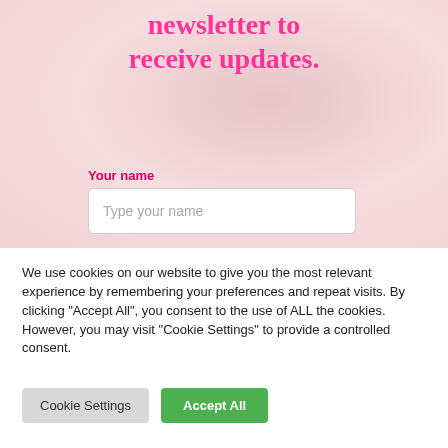newsletter to receive updates.
Your name
Type your name
We use cookies on our website to give you the most relevant experience by remembering your preferences and repeat visits. By clicking "Accept All", you consent to the use of ALL the cookies. However, you may visit "Cookie Settings" to provide a controlled consent.
Cookie Settings
Accept All